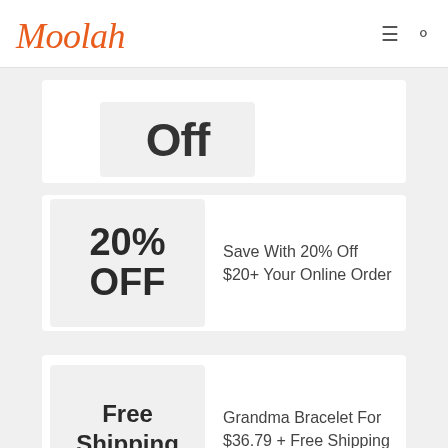Moolah
20% OFF
Save With 20% Off $20+ Your Online Order
Free Shipping
Grandma Bracelet For $36.79 + Free Shipping